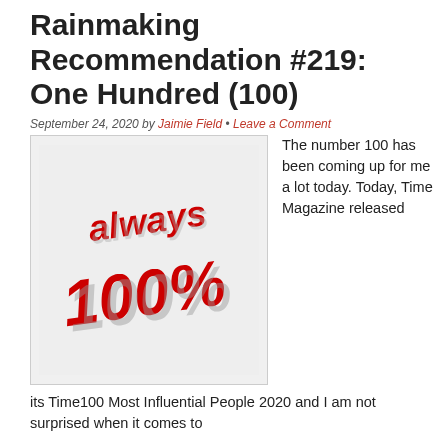Rainmaking Recommendation #219: One Hundred (100)
September 24, 2020 by Jaimie Field • Leave a Comment
[Figure (illustration): 3D graphic showing the text 'always 100%' in bold red and silver metallic letters]
The number 100 has been coming up for me a lot today. Today, Time Magazine released its Time100 Most Influential People 2020 and I am not surprised when it comes to